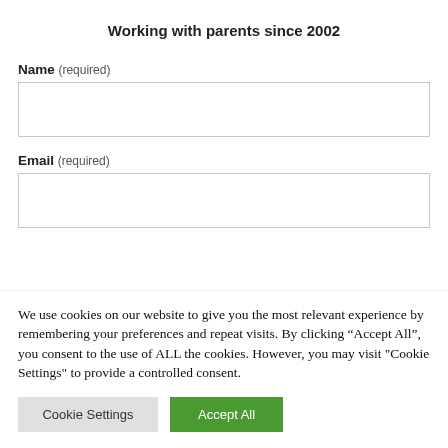Working with parents since 2002
Name (required)
Email (required)
We use cookies on our website to give you the most relevant experience by remembering your preferences and repeat visits. By clicking “Accept All”, you consent to the use of ALL the cookies. However, you may visit "Cookie Settings" to provide a controlled consent.
Cookie Settings | Accept All